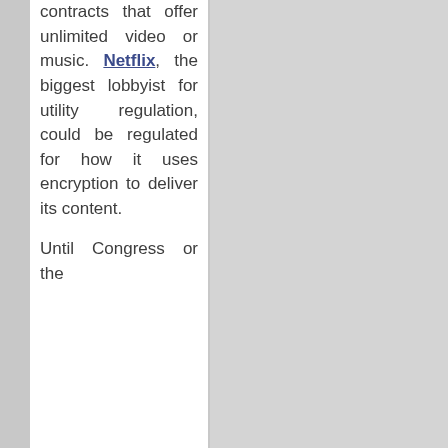contracts that offer unlimited video or music. Netflix, the biggest lobbyist for utility regulation, could be regulated for how it uses encryption to deliver its content.

Until Congress or the